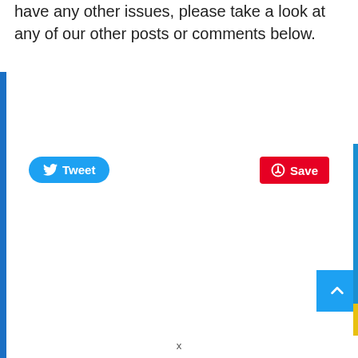have any other issues, please take a look at any of our other posts or comments below.
[Figure (screenshot): Twitter Tweet button (blue pill-shaped) and Pinterest Save button (red rounded rectangle) as social sharing widgets]
[Figure (screenshot): Scroll-to-top button (blue square with white upward chevron arrow) in bottom right corner]
x